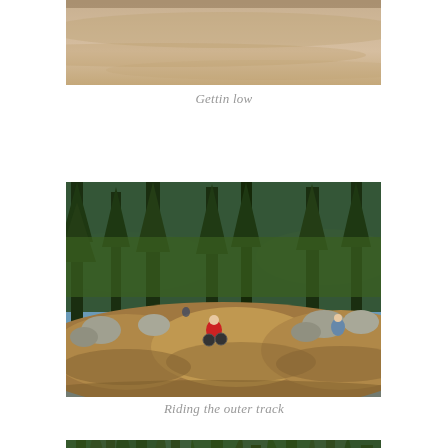[Figure (photo): Close-up of sandy/dirt terrain surface, cropped at top of page]
Gettin low
[Figure (photo): Outdoor mountain bike pump track with dirt mounds, rocks, and tall pine trees. Two riders visible on the track, one in red jacket.]
Riding the outer track
[Figure (photo): Tall pine trees against blue sky with people standing at the bottom, partial view]